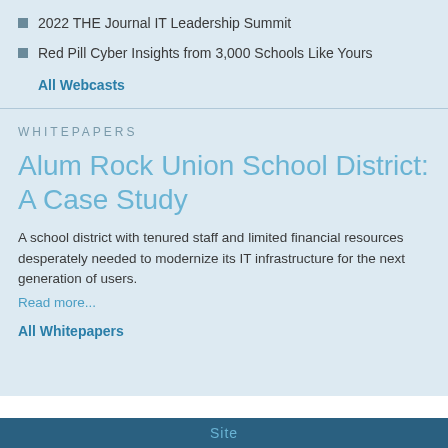2022 THE Journal IT Leadership Summit
Red Pill Cyber Insights from 3,000 Schools Like Yours
All Webcasts
WHITEPAPERS
Alum Rock Union School District: A Case Study
A school district with tenured staff and limited financial resources desperately needed to modernize its IT infrastructure for the next generation of users.
Read more...
All Whitepapers
Site